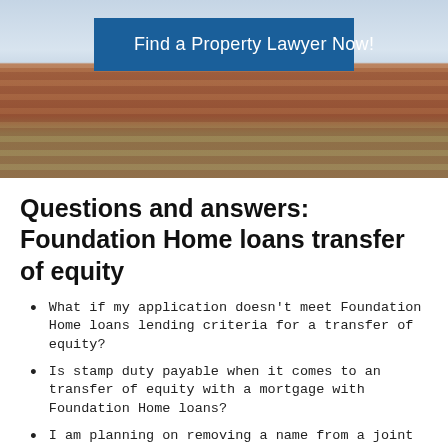[Figure (photo): Photo of red brick terraced houses with a blue button overlay reading 'Find a Property Lawyer Now!']
Questions and answers: Foundation Home loans transfer of equity
What if my application doesn't meet Foundation Home loans lending criteria for a transfer of equity?
Is stamp duty payable when it comes to an transfer of equity with a mortgage with Foundation Home loans?
I am planning on removing a name from a joint mortgage and the Foundation Home loans need me to use a conveyancing solicitor to carry out the paperwork. Can you recommend a reasonably priced Romsey lawyer to deal with the transfer of equity? They need to be on the Foundation Home loans conveyancing panel.
What do I need to do when it comes adding or